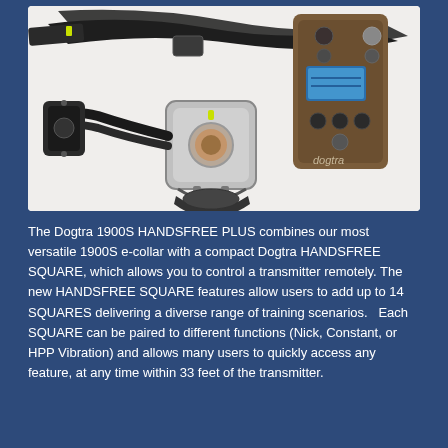[Figure (photo): A Dogtra 1900S HANDSFREE PLUS dog training e-collar system showing the collar receiver and the compact HANDSFREE SQUARE transmitter accessory, photographed on a white background.]
The Dogtra 1900S HANDSFREE PLUS combines our most versatile 1900S e-collar with a compact Dogtra HANDSFREE SQUARE, which allows you to control a transmitter remotely. The new HANDSFREE SQUARE features allow users to add up to 14 SQUARES delivering a diverse range of training scenarios.   Each SQUARE can be paired to different functions (Nick, Constant, or HPP Vibration) and allows many users to quickly access any feature, at any time within 33 feet of the transmitter.